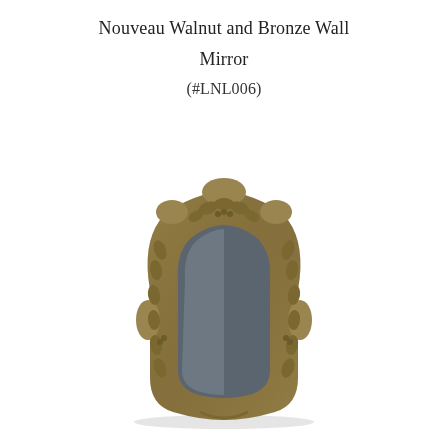Nouveau Walnut and Bronze Wall Mirror (#LNL006)
[Figure (photo): Art Nouveau style wall mirror with ornate walnut and bronze frame featuring embossed leaf and grape vine motifs. The frame has an arched top and organic curved shape. The mirror glass is visible in the center showing a slight reflection. Product code #LNL006.]